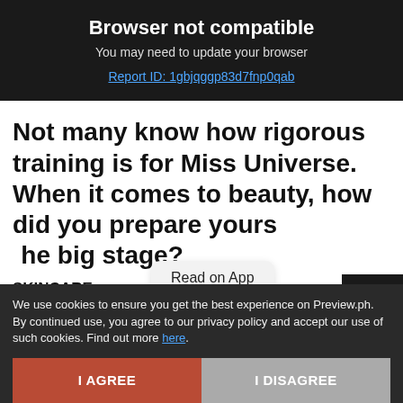Browser not compatible
You may need to update your browser
Report ID: 1gbjqggp83d7fnp0qab
Not many know how rigorous training is for Miss Universe. When it comes to beauty, how did you prepare yourself for the big stage?
SKINCARE
[Figure (screenshot): Read on App tooltip overlay]
[Figure (infographic): Share button in dark box with arrow icon]
We use cookies to ensure you get the best experience on Preview.ph. By continued use, you agree to our privacy policy and accept our use of such cookies. Find out more here.
I AGREE
I DISAGREE